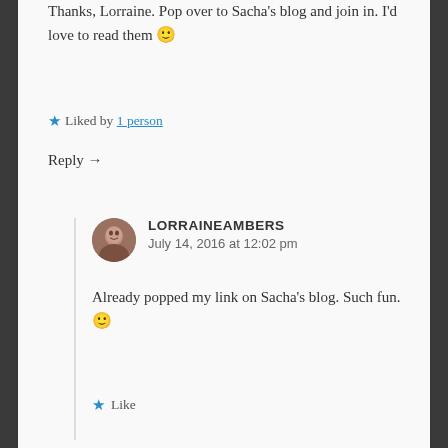Thanks, Lorraine. Pop over to Sacha's blog and join in. I'd love to read them 🙂
★ Liked by 1 person
Reply →
LORRAINEAMBERS
July 14, 2016 at 12:02 pm
Already popped my link on Sacha's blog. Such fun. 🙂
★ Like